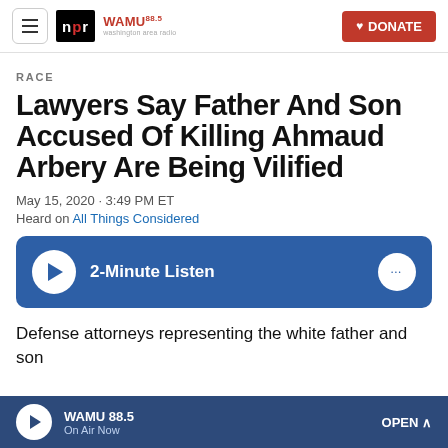NPR | WAMU 88.5 | DONATE
RACE
Lawyers Say Father And Son Accused Of Killing Ahmaud Arbery Are Being Vilified
May 15, 2020 · 3:49 PM ET
Heard on All Things Considered
[Figure (other): Audio player button with label '2-Minute Listen' on blue background with ellipsis button on right]
Defense attorneys representing the white father and son
WAMU 88.5 | On Air Now | OPEN